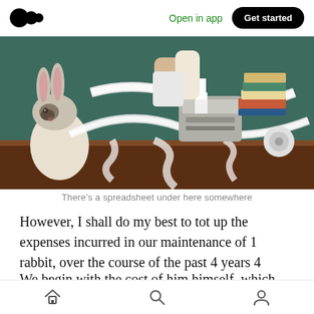Open in app  Get started
[Figure (photo): A rabbit sitting on a cluttered desk with adding machine tape spilling everywhere, a person operating a vintage adding machine in the background, books stacked to the right.]
There’s a spreadsheet under here somewhere
However, I shall do my best to tot up the expenses incurred in our maintenance of 1 rabbit, over the course of the past 4 years 4 months.
We begin with the cost of him himself, which sounds crass, but he did come with a receipt:
Home  Search  Profile